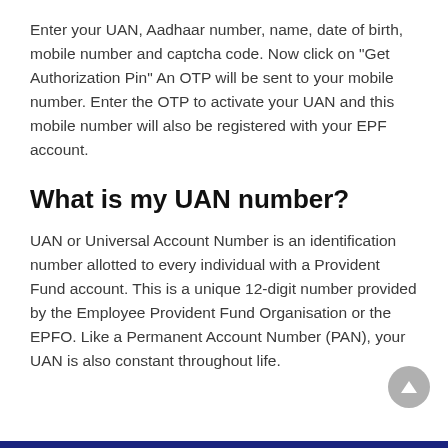Enter your UAN, Aadhaar number, name, date of birth, mobile number and captcha code. Now click on "Get Authorization Pin" An OTP will be sent to your mobile number. Enter the OTP to activate your UAN and this mobile number will also be registered with your EPF account.
What is my UAN number?
UAN or Universal Account Number is an identification number allotted to every individual with a Provident Fund account. This is a unique 12-digit number provided by the Employee Provident Fund Organisation or the EPFO. Like a Permanent Account Number (PAN), your UAN is also constant throughout life.